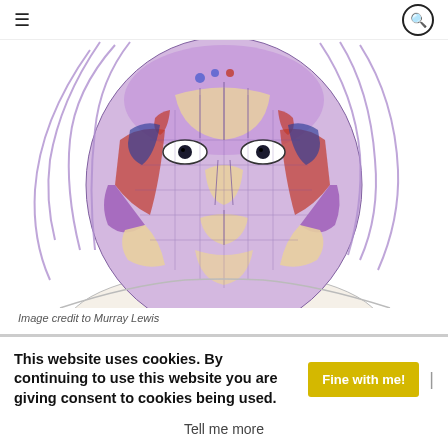≡  🔍
[Figure (illustration): Colorful anatomical illustration of a human face and neck showing muscles, with intricate patterns in purple, red, blue, and gold tones. Art by Murray Lewis.]
Image credit to Murray Lewis
This website uses cookies. By continuing to use this website you are giving consent to cookies being used. Fine with me! |
Tell me more